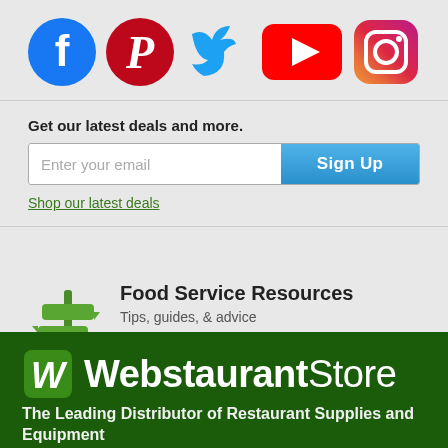[Figure (illustration): Row of five social media icons: Facebook (blue circle with white f), Pinterest (dark red circle with white P), Twitter (light blue bird), YouTube (red rectangle with white play triangle), Instagram (gradient circle camera icon)]
Get our latest deals and more.
Enter your email  Sign Up
Shop our latest deals
[Figure (illustration): Green signpost icon with two horizontal arrow signs pointing left]
Food Service Resources
Tips, guides, & advice
Explore Resources
[Figure (logo): WebstaurantStore logo with green W icon and white text on dark green background]
The Leading Distributor of Restaurant Supplies and Equipment